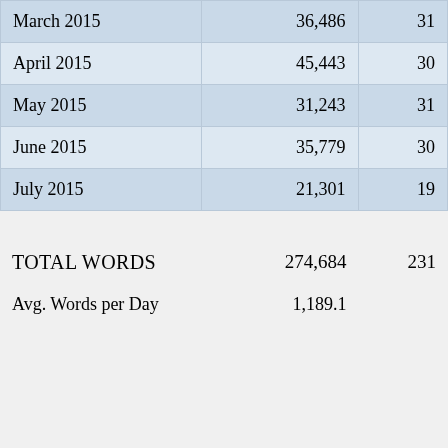| Month | Words | Days |
| --- | --- | --- |
| March 2015 | 36,486 | 31 |
| April 2015 | 45,443 | 30 |
| May 2015 | 31,243 | 31 |
| June 2015 | 35,779 | 30 |
| July 2015 | 21,301 | 19 |
| TOTAL WORDS | 274,684 | 231 |
| Avg. Words per Day | 1,189.1 |  |